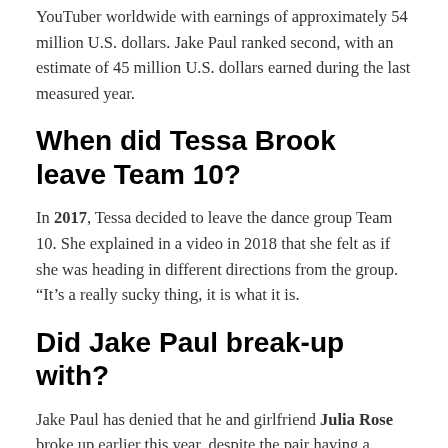YouTuber worldwide with earnings of approximately 54 million U.S. dollars. Jake Paul ranked second, with an estimate of 45 million U.S. dollars earned during the last measured year.
When did Tessa Brook leave Team 10?
In 2017, Tessa decided to leave the dance group Team 10. She explained in a video in 2018 that she felt as if she was heading in different directions from the group. “It’s a really sucky thing, it is what it is.
Did Jake Paul break-up with?
Jake Paul has denied that he and girlfriend Julia Rose broke up earlier this year, despite the pair having a